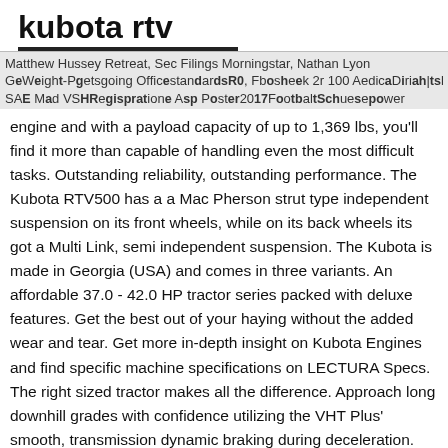kubota rtv
Matthew Hussey Retreat, Sec Filings Morningstar, Nathan Lyon Get Weight, Getgoing Office Standards R0, Facebook 2 100 Adice, Isaiah Isle SAE Mad VS HReg istration App Poster 2017 Football Schedules, sepower engine and with a payload capacity of up to 1,369 lbs, you'll find it more than capable of handling even the most difficult tasks. Outstanding reliability, outstanding performance. The Kubota RTV500 has a a Mac Pherson strut type independent suspension on its front wheels, while on its back wheels its got a Multi Link, semi independent suspension. The Kubota is made in Georgia (USA) and comes in three variants. An affordable 37.0 - 42.0 HP tractor series packed with deluxe features. Get the best out of your haying without the added wear and tear. Get more in-depth insight on Kubota Engines and find specific machine specifications on LECTURA Specs. The right sized tractor makes all the difference. Approach long downhill grades with confidence utilizing the VHT Plus' smooth, transmission dynamic braking during deceleration. 2014 KUBOTA RTV500, OROPS,